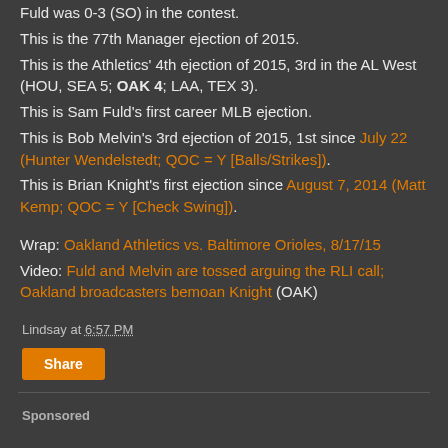Fuld was 0-3 (SO) in the contest. This is the 77th Manager ejection of 2015. This is the Athletics' 4th ejection of 2015, 3rd in the AL West (HOU, SEA 5; OAK 4; LAA, TEX 3). This is Sam Fuld's first career MLB ejection. This is Bob Melvin's 3rd ejection of 2015, 1st since July 22 (Hunter Wendelstedt; QOC = Y [Balls/Strikes]). This is Brian Knight's first ejection since August 7, 2014 (Matt Kemp; QOC = Y [Check Swing]).
Wrap: Oakland Athletics vs. Baltimore Orioles, 8/17/15
Video: Fuld and Melvin are tossed arguing the RLI call; Oakland broadcasters bemoan Knight (OAK)
Lindsay at 6:57 PM
Share
Sponsored